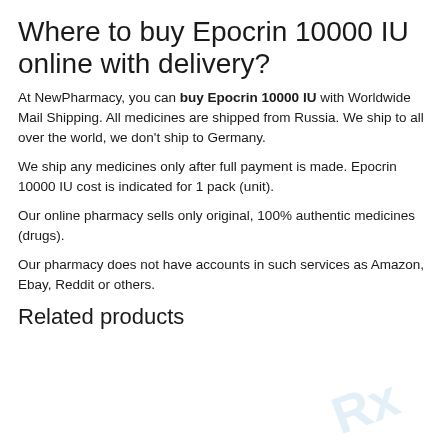Where to buy Epocrin 10000 IU online with delivery?
At NewPharmacy, you can buy Epocrin 10000 IU with Worldwide Mail Shipping. All medicines are shipped from Russia. We ship to all over the world, we don’t ship to Germany.
We ship any medicines only after full payment is made. Epocrin 10000 IU cost is indicated for 1 pack (unit).
Our online pharmacy sells only original, 100% authentic medicines (drugs).
Our pharmacy does not have accounts in such services as Amazon, Ebay, Reddit or others.
Related products